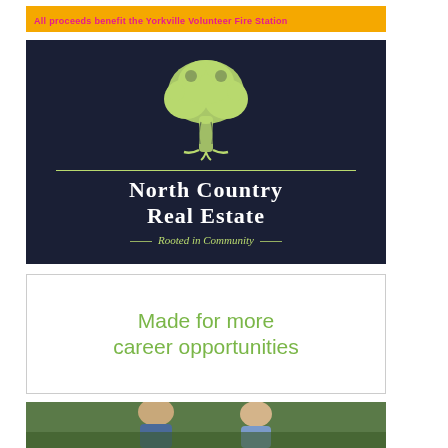All proceeds benefit the Yorkville Volunteer Fire Station
[Figure (logo): North Country Real Estate logo — dark navy background with a green illustrated tree above horizontal line, company name 'North Country Real Estate' in white serif text, tagline 'Rooted in Community' in green italic text]
Made for more career opportunities
[Figure (photo): Photo strip showing people outdoors, partially visible at bottom of page]